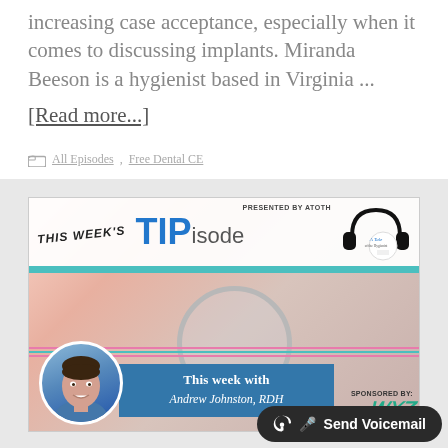increasing case acceptance, especially when it comes to discussing implants. Miranda Beeson is a hygienist based in Virginia ...
[Read more...]
All Episodes, Free Dental CE
[Figure (infographic): This Week's TIPisode banner presented by ATOTH with headphones logo, dental photo background, circular headshot of Andrew Johnston RDH, blue info box reading 'This Week With Andrew Johnston, RDH', Sponsored By logo, and Send Voicemail button]